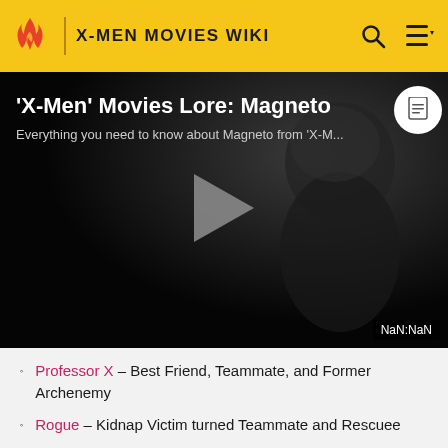X-MEN MOVIES WIKI
[Figure (screenshot): Video thumbnail showing Magneto character from X-Men movies in a dark scene, with play button overlay. Title reads: 'X-Men' Movies Lore: Magneto. Subtitle: Everything you need to know about Magneto from 'X-M...'. Duration badge shows NaN:NaN.]
Professor X – Best Friend, Teammate, and Former Archenemy
Rogue – Kidnap Victim turned Teammate and Rescuee
Cyclops - Former Ally